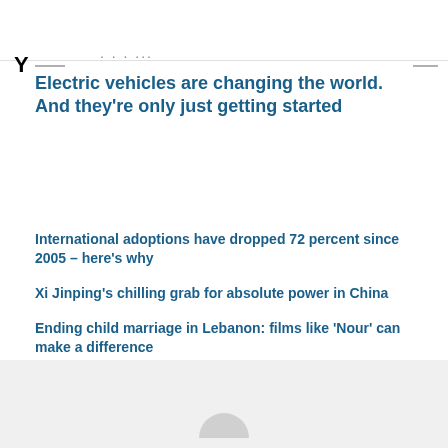Y ...
Electric vehicles are changing the world. And they're only just getting started
International adoptions have dropped 72 percent since 2005 – here's why
Xi Jinping's chilling grab for absolute power in China
Ending child marriage in Lebanon: films like 'Nour' can make a difference